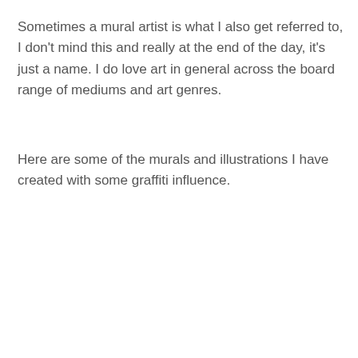Sometimes a mural artist is what I also get referred to, I don't mind this and really at the end of the day, it's just a name. I do love art in general across the board range of mediums and art genres.
Here are some of the murals and illustrations I have created with some graffiti influence.